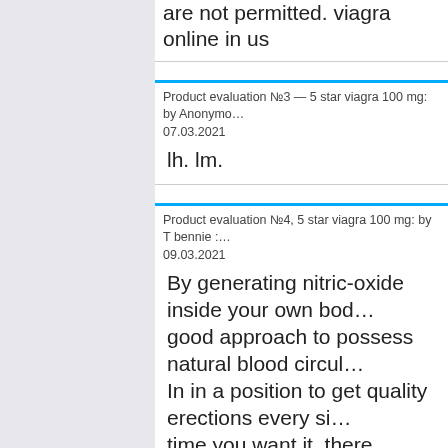working days with tracking Parcel forwarding are not permitted. viagra online in us
Product evaluation №3 — 5 star viagra 100 mg: by Anonymous 07.03.2021
lh. lm.
Product evaluation №4, 5 star viagra 100 mg: by T bennie : 09.03.2021
By generating nitric-oxide inside your own body good approach to possess natural blood circulation In in a position to get quality erections every single time you want it, there should be an all-natural circulation of blood into your penis. buy viagra in united states
Product evaluation №5 – 5 star viagra 100 mg: by Anonymous 10.03.2021
At the 15th International AIDS Conference in Thailand, the CDC reported new research on HIV diagnosis rates showing that the epidemic was